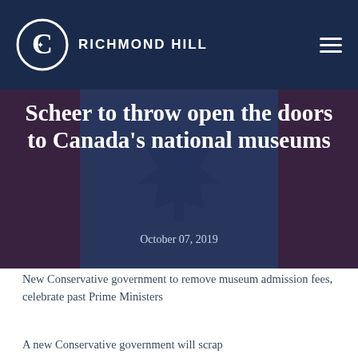RICHMOND HILL
[Figure (illustration): Canadian flag with maple leaf in dark blue/navy overlay background behind hero text]
Scheer to throw open the doors to Canada's national museums
October 07, 2019
New Conservative government to remove museum admission fees, celebrate past Prime Ministers
A new Conservative government will scrap